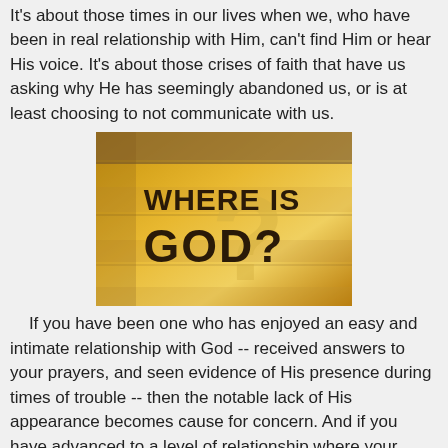It's about those times in our lives when we, who have been in real relationship with Him, can't find Him or hear His voice.  It's about those crises of faith that have us asking why He has seemingly abandoned us, or is at least choosing to not communicate with us.
[Figure (illustration): Decorative image with wooden plank background in golden-yellow tones, featuring bold dark brown text reading 'WHERE IS GOD?' with a large question mark]
If you have been one who has enjoyed an easy and intimate relationship with God -- received answers to your prayers, and seen evidence of His presence during times of trouble -- then the notable lack of His appearance becomes cause for concern.  And if you have advanced to a level of relationship where your spirit can approach His throne room and ask for heavenly power and a call to action -- and then